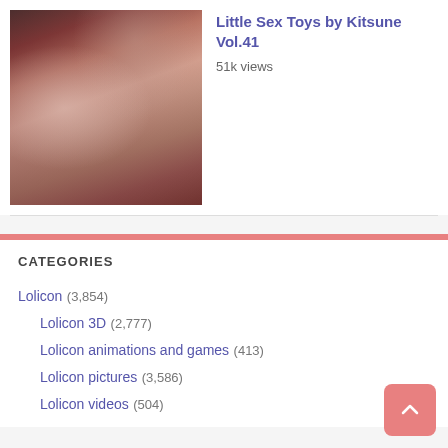[Figure (photo): 3D rendered CG image thumbnail showing animated figures on a red striped surface]
Little Sex Toys by Kitsune Vol.41
51k views
CATEGORIES
Lolicon (3,854)
Lolicon 3D (2,777)
Lolicon animations and games (413)
Lolicon pictures (3,586)
Lolicon videos (504)